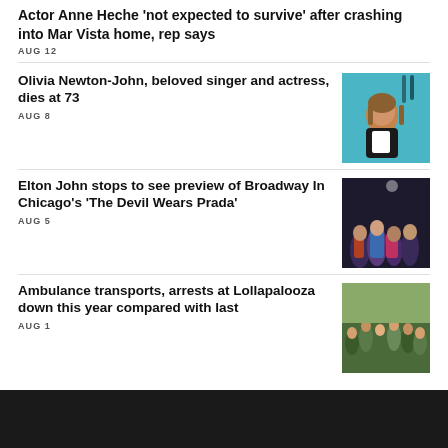Actor Anne Heche 'not expected to survive' after crashing into Mar Vista home, rep says
AUG 12
Olivia Newton-John, beloved singer and actress, dies at 73
AUG 8
[Figure (photo): Photo of Olivia Newton-John, a woman with shoulder-length brown hair wearing a black blazer over a white top, in front of a teal background with guitars visible]
Elton John stops to see preview of Broadway In Chicago's 'The Devil Wears Prada'
AUG 5
[Figure (photo): Photo of a group of people posing together at what appears to be a theater or event venue, dark background]
Ambulance transports, arrests at Lollapalooza down this year compared with last
AUG 1
[Figure (photo): Photo of a large crowd of concert-goers at Lollapalooza, many people with hands raised]